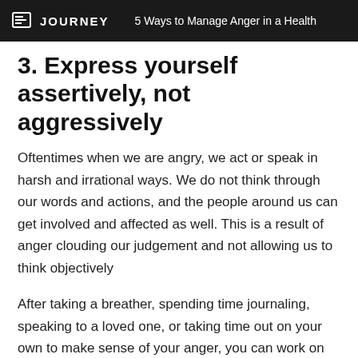JOURNEY   5 Ways to Manage Anger in a Health
3. Express yourself assertively, not aggressively
Oftentimes when we are angry, we act or speak in harsh and irrational ways. We do not think through our words and actions, and the people around us can get involved and affected as well. This is a result of anger clouding our judgement and not allowing us to think objectively
After taking a breather, spending time journaling, speaking to a loved one, or taking time out on your own to make sense of your anger, you can work on express frustration in assertive but nonconfrontational ways. This includes vocalizing what or where you think the anger is coming from, why it made you feel as such,